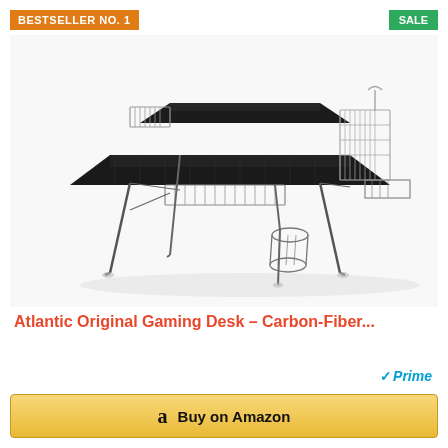BESTSELLER NO. 1
SALE
[Figure (photo): Atlantic Original Gaming Desk with carbon-fiber textured black surface, wire frame legs, monitor shelf, side organizers, and cup holder]
Atlantic Original Gaming Desk – Carbon-Fiber...
Prime
$54.99
Buy on Amazon